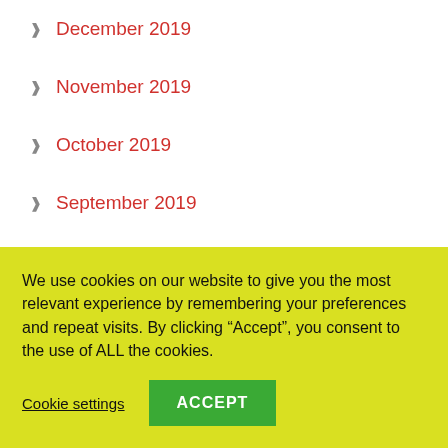December 2019
November 2019
October 2019
September 2019
August 2019
July 2019
June 2019
May 2019
We use cookies on our website to give you the most relevant experience by remembering your preferences and repeat visits. By clicking “Accept”, you consent to the use of ALL the cookies.
Cookie settings   ACCEPT